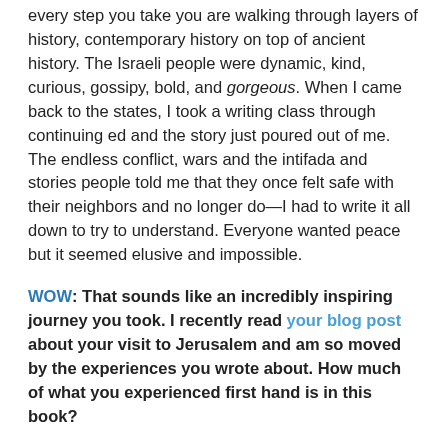every step you take you are walking through layers of history, contemporary history on top of ancient history. The Israeli people were dynamic, kind, curious, gossipy, bold, and gorgeous. When I came back to the states, I took a writing class through continuing ed and the story just poured out of me. The endless conflict, wars and the intifada and stories people told me that they once felt safe with their neighbors and no longer do—I had to write it all down to try to understand. Everyone wanted peace but it seemed elusive and impossible.
WOW: That sounds like an incredibly inspiring journey you took. I recently read your blog post about your visit to Jerusalem and am so moved by the experiences you wrote about. How much of what you experienced first hand is in this book?
Wendy: About 50% of the book is true and 50% is made up. The settings and descriptions are all true—the cottage in Ein Hod, the Jerusalem hostel, the couple I worked for as a nanny, the attack on the street, the time we were on the beach and the bomb squad came, camping in the desert,